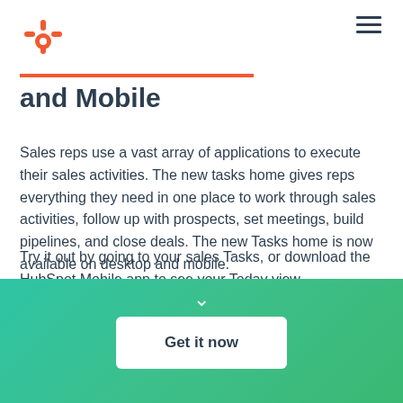[Figure (logo): HubSpot sprocket logo in orange]
and Mobile
Sales reps use a vast array of applications to execute their sales activities. The new tasks home gives reps everything they need in one place to work through sales activities, follow up with prospects, set meetings, build pipelines, and close deals. The new Tasks home is now available on desktop and mobile.
Try it out by going to your sales Tasks, or download the HubSpot Mobile app to see your Today view.
Get it now